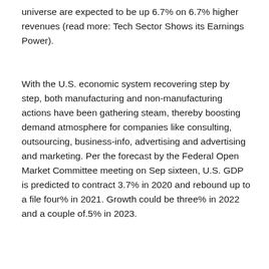universe are expected to be up 6.7% on 6.7% higher revenues (read more: Tech Sector Shows its Earnings Power).
With the U.S. economic system recovering step by step, both manufacturing and non-manufacturing actions have been gathering steam, thereby boosting demand atmosphere for companies like consulting, outsourcing, business-info, advertising and advertising and marketing. Per the forecast by the Federal Open Market Committee meeting on Sep sixteen, U.S. GDP is predicted to contract 3.7% in 2020 and rebound up to a file four% in 2021. Growth could be three% in 2022 and a couple of.5% in 2023.